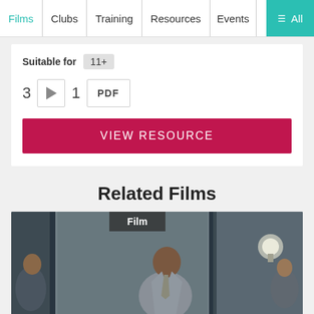Films | Clubs | Training | Resources | Events | ≡ All
Suitable for 11+
3 ▶ 1 PDF
VIEW RESOURCE
Related Films
[Figure (photo): Film scene showing a man in a grey suit in an interior setting with other people visible. A 'Film' label tag is shown at the top center of the image.]